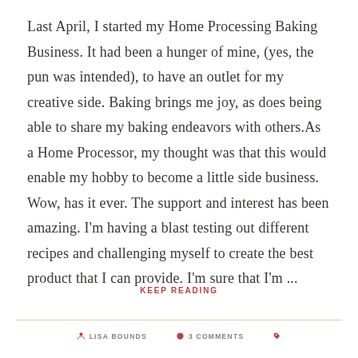Last April, I started my Home Processing Baking Business. It had been a hunger of mine, (yes, the pun was intended), to have an outlet for my creative side. Baking brings me joy, as does being able to share my baking endeavors with others.As a Home Processor, my thought was that this would enable my hobby to become a little side business. Wow, has it ever. The support and interest has been amazing. I'm having a blast testing out different recipes and challenging myself to create the best product that I can provide. I'm sure that I'm ...
KEEP READING
LISA BOUNDS   3 COMMENTS